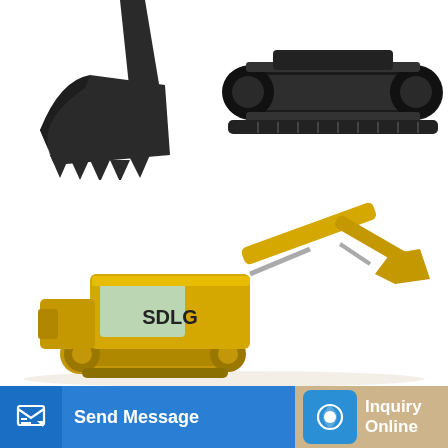[Figure (photo): Two construction equipment parts: left shows a JCB excavator bucket/arm attachment in dark grey/black, right shows an excavator undercarriage/track unit in black]
Used JCB mini excavators < 7t (Mini diggers) for sales
Mini excavators < 7t (Mini diggers) 2019 1,266 h. United Kingdom. POA. JCB 8026CTS. Other information: Stock Code (CP2603) Model Year 2018 ONLY 1484 Hours Perkins 3...
Learn More
[Figure (photo): Yellow SDLG branded excavator/mini digger, partially visible, showing the cab, arm, and tracks]
Send Message
Inquiry Online